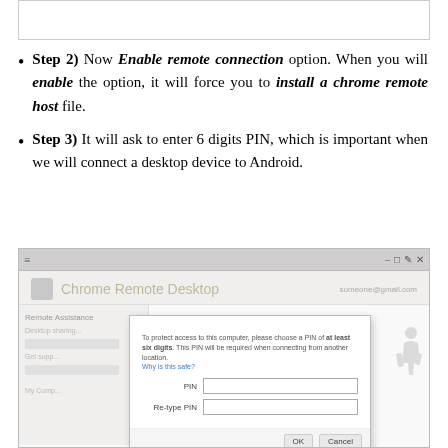[Figure (screenshot): Top portion of a bordered box — continuation of content from previous page]
Step 2) Now Enable remote connection option. When you will enable the option, it will force you to install a chrome remote host file.
Step 3) It will ask to enter 6 digits PIN, which is important when we will connect a desktop device to Android.
[Figure (screenshot): Screenshot of Chrome Remote Desktop application showing a PIN entry dialog. Dialog reads: 'To protect access to this computer, please choose a PIN of at least six digits. This PIN will be required when connecting from another location. Why is this safe?' with PIN input field and Re-type PIN field, and OK and Cancel buttons.]